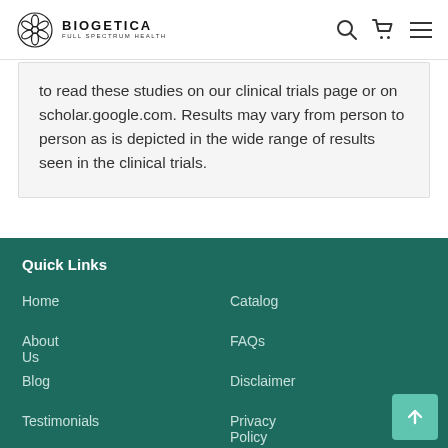BIOGETICA FULL SPECTRUM HEALTH
to read these studies on our clinical trials page or on scholar.google.com. Results may vary from person to person as is depicted in the wide range of results seen in the clinical trials.
Quick Links
Home
Catalog
About Us
FAQs
Blog
Disclaimer
Testimonials
Privacy Policy